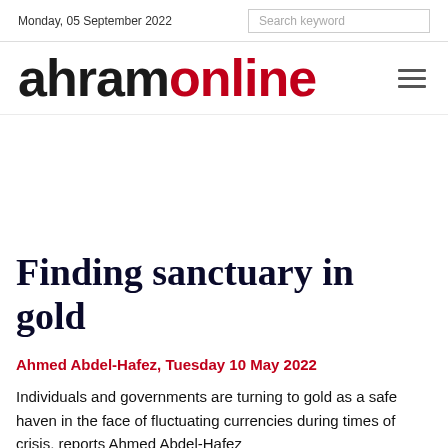Monday, 05 September 2022   Search keyword
[Figure (logo): Ahram Online logo — 'ahram' in black bold large text, 'online' in dark red bold large text, with hamburger menu icon on the right]
Finding sanctuary in gold
Ahmed Abdel-Hafez, Tuesday 10 May 2022
Individuals and governments are turning to gold as a safe haven in the face of fluctuating currencies during times of crisis, reports Ahmed Abdel-Hafez